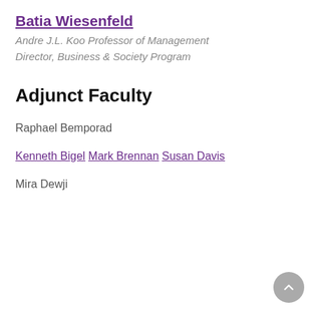Batia Wiesenfeld
Andre J.L. Koo Professor of Management
Director, Business & Society Program
Adjunct Faculty
Raphael Bemporad
Kenneth Bigel
Mark Brennan
Susan Davis
Mira Dewji